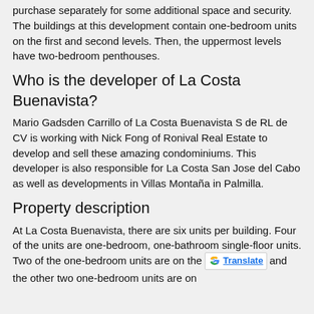purchase separately for some additional space and security. The buildings at this development contain one-bedroom units on the first and second levels. Then, the uppermost levels have two-bedroom penthouses.
Who is the developer of La Costa Buenavista?
Mario Gadsden Carrillo of La Costa Buenavista S de RL de CV is working with Nick Fong of Ronival Real Estate to develop and sell these amazing condominiums. This developer is also responsible for La Costa San Jose del Cabo as well as developments in Villas Montaña in Palmilla.
Property description
At La Costa Buenavista, there are six units per building. Four of the units are one-bedroom, one-bathroom single-floor units. Two of the one-bedroom units are on the [G Translate] and the other two one-bedroom units are on